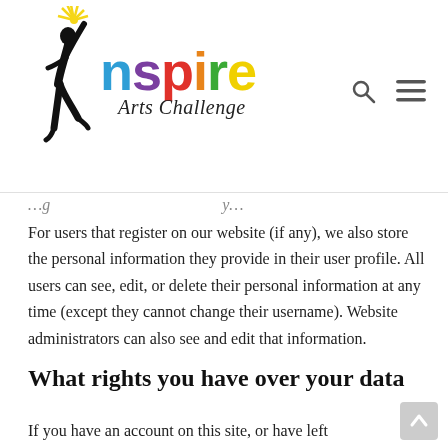[Figure (logo): Inspire Arts Challenge logo with colorful text and dancer silhouette figure with starburst]
...g...y...
For users that register on our website (if any), we also store the personal information they provide in their user profile. All users can see, edit, or delete their personal information at any time (except they cannot change their username). Website administrators can also see and edit that information.
What rights you have over your data
If you have an account on this site, or have left